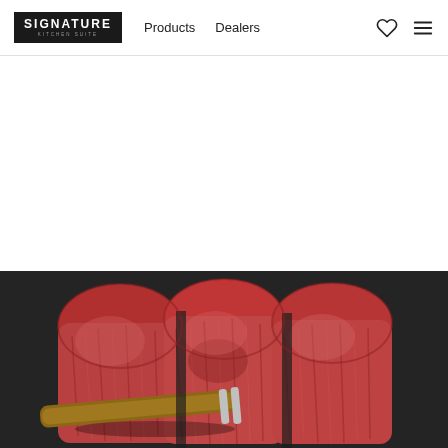Signature Kitchen Suite — Products | Dealers
[Figure (photo): Three thick raw beef steak cuts standing upright on a dark background, held with a wooden-handled meat fork. The steaks show rich red color with visible marbling and muscle texture.]